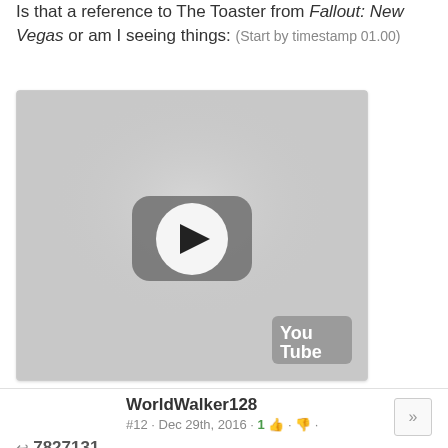Is that a reference to The Toaster from Fallout: New Vegas or am I seeing things: (Start by timestamp 01.00)
[Figure (screenshot): Embedded YouTube video thumbnail placeholder showing a gray background with a YouTube play button icon in the center and the YouTube logo in the bottom-right corner]
WorldWalker128
#12 · Dec 29th, 2016 · 1 👍 · 👎 ·
↩ 7827131
I never found his personality chip. Now I am sad that I didn't